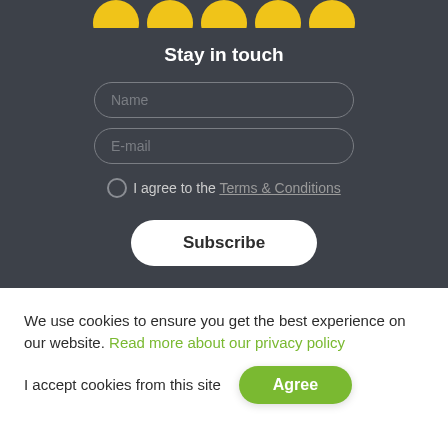[Figure (illustration): Row of yellow circular social media icons partially visible at the top of the dark section]
Stay in touch
[Figure (other): Name input field with rounded border]
[Figure (other): E-mail input field with rounded border]
I agree to the Terms & Conditions
Subscribe
We use cookies to ensure you get the best experience on our website. Read more about our privacy policy
I accept cookies from this site
Agree